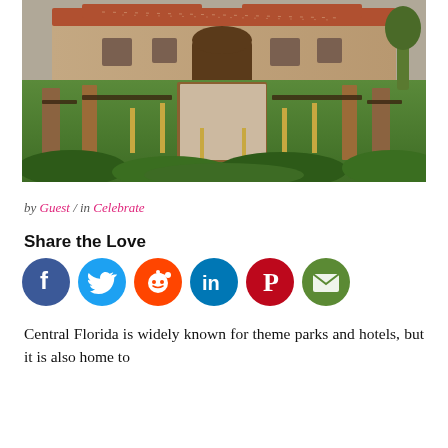[Figure (photo): Aerial view of an outdoor wedding reception setup with long dining tables, wooden chairs, greenery centerpieces, tall gold candle stands, and a Spanish-style villa in the background surrounded by lush green lawn.]
by Guest / in Celebrate
Share the Love
[Figure (infographic): Row of social media sharing icons: Facebook (dark blue), Twitter (light blue), Reddit (orange), LinkedIn (dark blue), Pinterest (red), Email (green).]
Central Florida is widely known for theme parks and hotels, but it is also home to